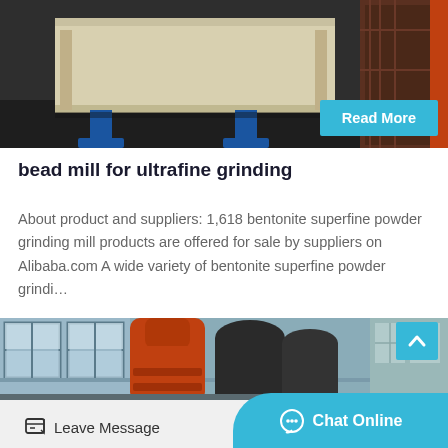[Figure (photo): Industrial machinery in a factory setting, showing a large cream/white machine body mounted on blue steel stands against a dark floor background, with a brown industrial component visible on the right.]
bead mill for ultrafine grinding
About product and suppliers: 1,618 bentonite superfine powder grinding mill products are offered for sale by suppliers on Alibaba.com A wide variety of bentonite superfine powder grindi…
[Figure (photo): Large orange/red vertical industrial mill machine inside a factory building with large windows and high ceilings. Additional cylindrical black equipment visible behind it.]
Leave Message
Chat Online